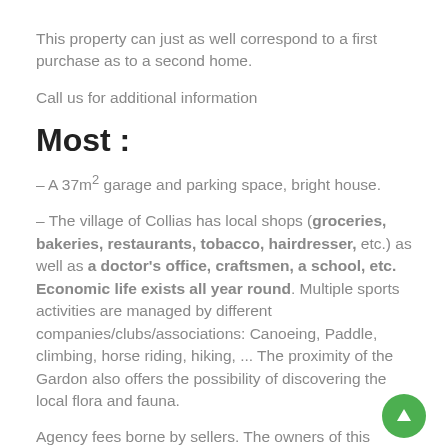This property can just as well correspond to a first purchase as to a second home.
Call us for additional information
Most :
– A 37m² garage and parking space, bright house.
– The village of Collias has local shops (groceries, bakeries, restaurants, tobacco, hairdresser, etc.) as well as a doctor's office, craftsmen, a school, etc. Economic life exists all year round. Multiple sports activities are managed by different companies/clubs/associations: Canoeing, Paddle, climbing, horse riding, hiking, ... The proximity of the Gardon also offers the possibility of discovering the local flora and fauna.
Agency fees borne by sellers. The owners of this property have entrusted us with the exclusive sale, so